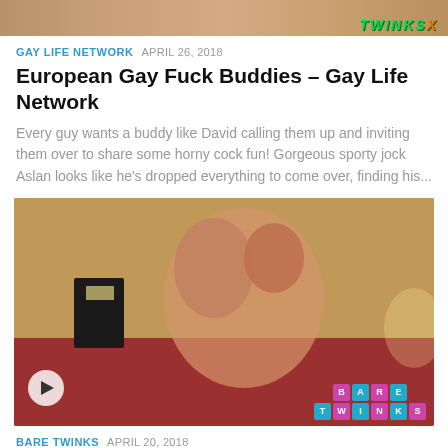[Figure (photo): Partial top image strip with Twinks watermark logo in green and orange]
GAY LIFE NETWORK  APRIL 26, 2018
European Gay Fuck Buddies – Gay Life Network
Every guy wants a buddy like David calling them up and inviting them over to share some horny cock fun! Gorgeous sporty jock Aslan looks like he's dropped everything to come over, finding his...
[Figure (photo): Photo of two young men in a bedroom with red rose petals, with Bare Twinks logo watermark in bottom right and play button overlay in bottom left]
BARE TWINKS  APRIL 20, 2018